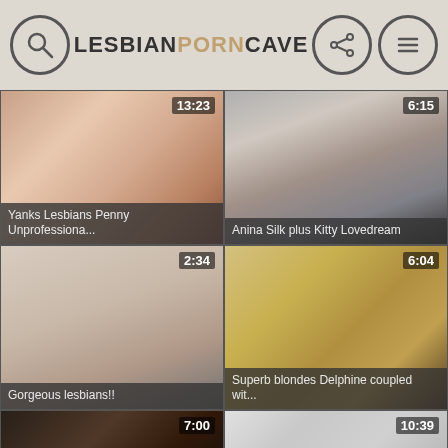LESBIANPORNCAVE
[Figure (screenshot): Video thumbnail grid cell 1 - duration 13:23, title: Yanks Lesbians Penny Unprofessiona...]
[Figure (screenshot): Video thumbnail grid cell 2 - duration 6:15, title: Anina Silk plus Kitty Lovedream]
[Figure (screenshot): Video thumbnail grid cell 3 - duration 2:34, title: Gorgeous lesbians!!]
[Figure (screenshot): Video thumbnail grid cell 4 - duration 6:04, title: Superb blondes Delphine coupled wit...]
[Figure (screenshot): Video thumbnail grid cell 5 - duration 7:00, partial view]
[Figure (screenshot): Video thumbnail grid cell 6 - duration 10:39, partial view]